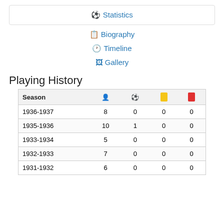⚽ Statistics
📋 Biography
🕐 Timeline
🖼 Gallery
Playing History
| Season | 👤 | ⚽ | 🟨 | 🟥 |
| --- | --- | --- | --- | --- |
| 1936-1937 | 8 | 0 | 0 | 0 |
| 1935-1936 | 10 | 1 | 0 | 0 |
| 1933-1934 | 5 | 0 | 0 | 0 |
| 1932-1933 | 7 | 0 | 0 | 0 |
| 1931-1932 | 6 | 0 | 0 | 0 |